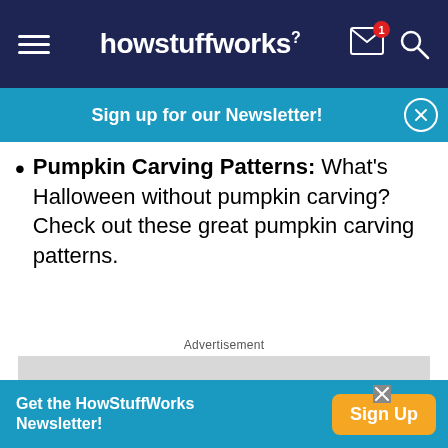howstuffworks
Sign up for our Newsletter!
Pumpkin Carving Patterns: What's Halloween without pumpkin carving? Check out these great pumpkin carving patterns.
Advertisement
[Figure (other): Gray advertisement placeholder box]
Get the HowStuffWorks Newsletter! Sign Up